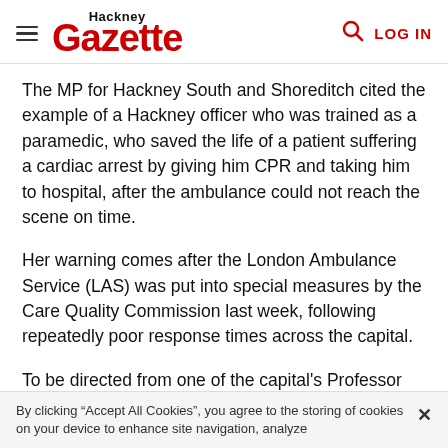Hackney Gazette — LOG IN
The MP for Hackney South and Shoreditch cited the example of a Hackney officer who was trained as a paramedic, who saved the life of a patient suffering a cardiac arrest by giving him CPR and taking him to hospital, after the ambulance could not reach the scene on time.
Her warning comes after the London Ambulance Service (LAS) was put into special measures by the Care Quality Commission last week, following repeatedly poor response times across the capital.
(cut off text at bottom)
By clicking “Accept All Cookies”, you agree to the storing of cookies on your device to enhance site navigation, analyze